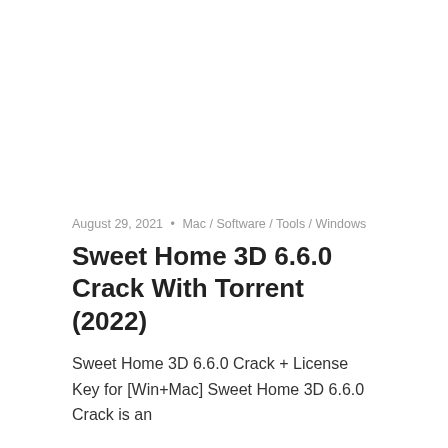August 29, 2021 • Mac / Software / Tools / Windows
Sweet Home 3D 6.6.0 Crack With Torrent (2022)
Sweet Home 3D 6.6.0 Crack + License Key for [Win+Mac] Sweet Home 3D 6.6.0 Crack is an